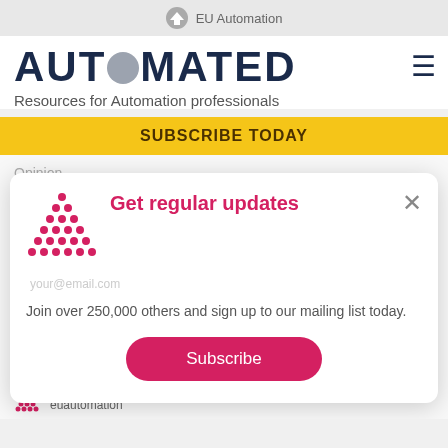EU Automation
AUTOMATED
Resources for Automation professionals
SUBSCRIBE TODAY
Opinion
Conversations
[Figure (screenshot): Modal popup with EU Automation dots logo, title 'Get regular updates', email field placeholder, body text 'Join over 250,000 others and sign up to our mailing list today.', Subscribe button, and close X button]
euautomation